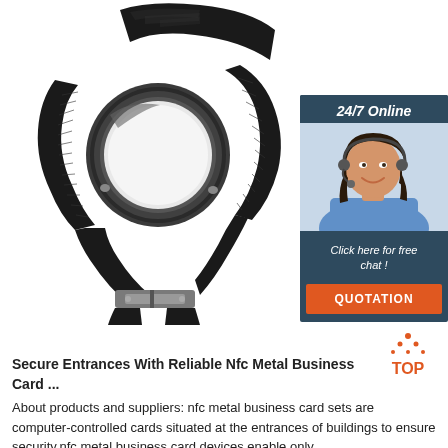[Figure (photo): NFC wristband/smartwatch band product photo on white background — black nylon woven strap with metal circular bezel (no face/screen), silver buckle clasp]
[Figure (photo): 24/7 Online chat widget overlay in dark blue: header '24/7 Online', photo of smiling woman with headset in blue shirt, text 'Click here for free chat !', orange button 'QUOTATION']
[Figure (illustration): TOP icon: orange dotted triangle with 'TOP' text in orange below it]
Secure Entrances With Reliable Nfc Metal Business Card ...
About products and suppliers: nfc metal business card sets are computer-controlled cards situated at the entrances of buildings to ensure security.nfc metal business card devices enable only